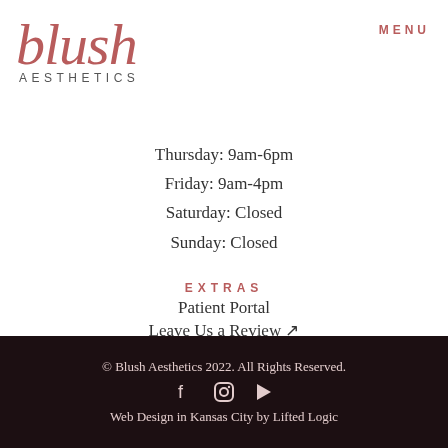[Figure (logo): Blush Aesthetics logo with script 'blush' in rose color and 'AESTHETICS' in spaced caps below]
MENU
Thursday: 9am-6pm
Friday: 9am-4pm
Saturday: Closed
Sunday: Closed
EXTRAS
Patient Portal
Leave Us a Review ↗
Privacy Policy
© Blush Aesthetics 2022. All Rights Reserved.
Web Design in Kansas City by Lifted Logic